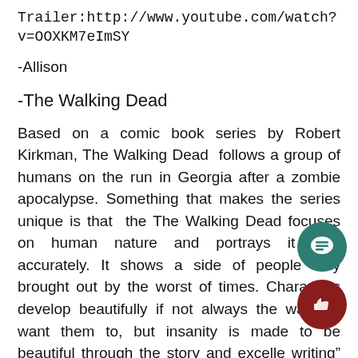Trailer:http://www.youtube.com/watch?v=OOXKM7eImSY
-Allison
-The Walking Dead
Based on a comic book series by Robert Kirkman, The Walking Dead  follows a group of humans on the run in Georgia after a zombie apocalypse. Something that makes the series unique is that  the The Walking Dead focuses on human nature and portrays it very accurately. It shows a side of people only brought out by the worst of times. Characters develop beautifully if not always the way we want them to, but insanity is made to be beautiful through the story and excelle writing" instead of the cut-zombies-in-two approach While the show doesn't exactly have a consistent c of characters, there are quite a few fan favorites, whi